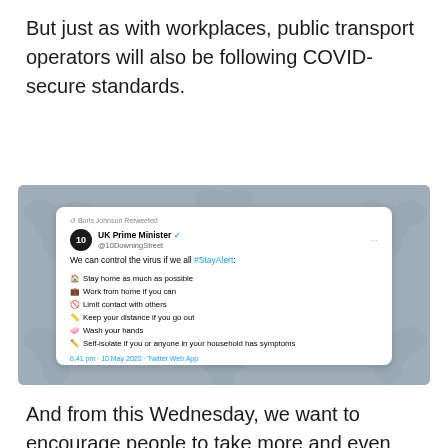But just as with workplaces, public transport operators will also be following COVID-secure standards.
[Figure (screenshot): Screenshot of a tweet from UK Prime Minister (@10DowningStreet), retweeted by Boris Johnson. The tweet reads: 'We can control the virus if we all #StayAlert:' followed by a list: Stay home as much as possible, Work from home if you can, Limit contact with others, Keep your distance if you go out, Wash your hands, Self-isolate if you or anyone in your household has symptoms. Timestamped 6:41 pm - 10 May 2020 - Twitter Web App. Displayed over a grey Twitter-bird background.]
And from this Wednesday, we want to encourage people to take more and even unlimited amounts of outdoor exercise.